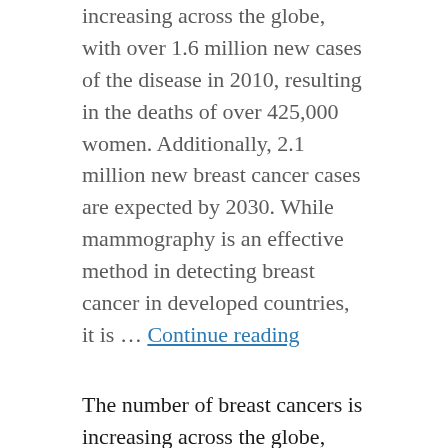increasing across the globe, with over 1.6 million new cases of the disease in 2010, resulting in the deaths of over 425,000 women. Additionally, 2.1 million new breast cancer cases are expected by 2030. While mammography is an effective method in detecting breast cancer in developed countries, it is … Continue reading
The number of breast cancers is increasing across the globe, with over 1.6 million new cases of the disease in 2010, resulting in the deaths of over 425,000 women. Additionally, 2.1 million new breast cancer cases are expected by 2030. While mammography is an effective method in detecting breast cancer in developed countries, it is ...